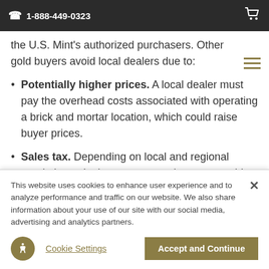1-888-449-0323
the U.S. Mint's authorized purchasers. Other gold buyers avoid local dealers due to:
Potentially higher prices. A local dealer must pay the overhead costs associated with operating a brick and mortar location, which could raise buyer prices.
Sales tax. Depending on local and regional regulations, dealers may pay sales tax on gold
This website uses cookies to enhance user experience and to analyze performance and traffic on our website. We also share information about your use of our site with our social media, advertising and analytics partners.